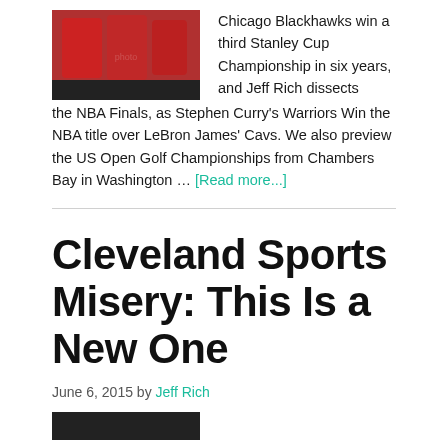[Figure (photo): Photo of Chicago Blackhawks players in red jerseys celebrating]
Chicago Blackhawks win a third Stanley Cup Championship in six years, and Jeff Rich dissects the NBA Finals, as Stephen Curry's Warriors Win the NBA title over LeBron James' Cavs. We also preview the US Open Golf Championships from Chambers Bay in Washington … [Read more...]
Cleveland Sports Misery: This Is a New One
June 6, 2015 by Jeff Rich
[Figure (photo): Partial photo at bottom of page, cut off]